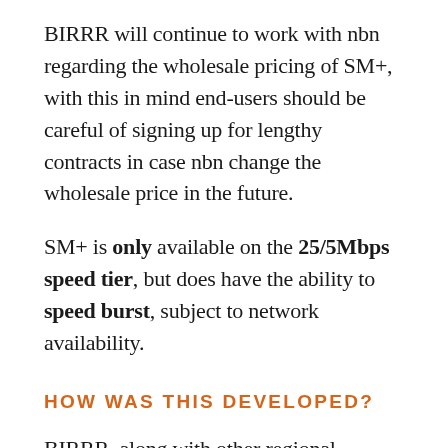BIRRR will continue to work with nbn regarding the wholesale pricing of SM+, with this in mind end-users should be careful of signing up for lengthy contracts in case nbn change the wholesale price in the future.
SM+ is only available on the 25/5Mbps speed tier, but does have the ability to speed burst, subject to network availability.
HOW WAS THIS DEVELOPED?
BIRRR, along with other regional stakeholders have been discussing with nbn and the Federal Government ways to enhance the experience